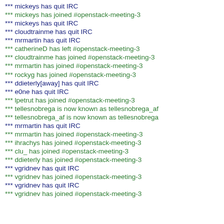*** mickeys has quit IRC
*** mickeys has joined #openstack-meeting-3
*** mickeys has quit IRC
*** cloudtrainme has quit IRC
*** mrmartin has quit IRC
*** catherineD has left #openstack-meeting-3
*** cloudtrainme has joined #openstack-meeting-3
*** mrmartin has joined #openstack-meeting-3
*** rockyg has joined #openstack-meeting-3
*** ddieterly[away] has quit IRC
*** e0ne has quit IRC
*** lpetrut has joined #openstack-meeting-3
*** tellesnobrega is now known as tellesnobrega_af
*** tellesnobrega_af is now known as tellesnobrega
*** mrmartin has quit IRC
*** mrmartin has joined #openstack-meeting-3
*** ihrachys has joined #openstack-meeting-3
*** clu_ has joined #openstack-meeting-3
*** ddieterly has joined #openstack-meeting-3
*** vgridnev has quit IRC
*** vgridnev has joined #openstack-meeting-3
*** vgridnev has quit IRC
*** vgridnev has joined #openstack-meeting-3